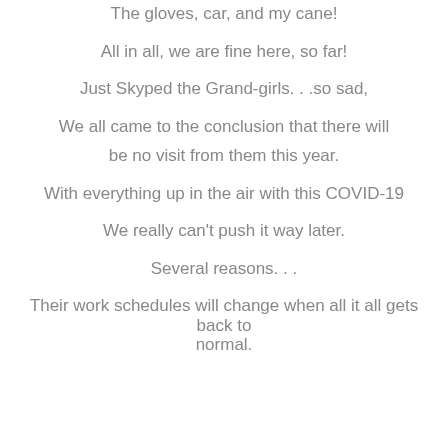The gloves, car, and my cane!
All in all, we are fine here, so far!
Just Skyped the Grand-girls. . .so sad,
We all came to the conclusion that there will be no visit from them this year.
With everything up in the air with this COVID-19
We really can't push it way later.
Several reasons. . .
Their work schedules will change when all it all gets back to normal.